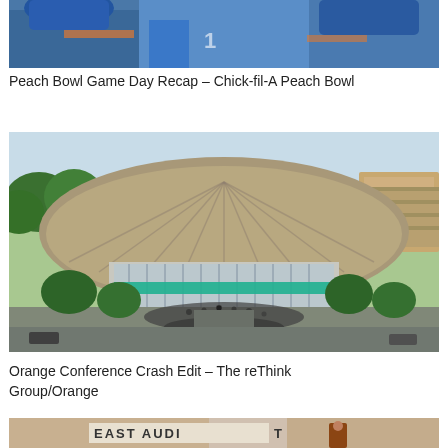[Figure (photo): Aerial/close-up photo of football players in blue uniforms (cropped, partial view at top of page)]
Peach Bowl Game Day Recap – Chick-fil-A Peach Bowl
[Figure (photo): Aerial drone photo of a large arena/convention center building with crowds gathering outside, surrounded by trees and parking areas]
Orange Conference Crash Edit – The reThink Group/Orange
[Figure (photo): Partial photo showing 'EAST AUDITORIUM' signage with a person standing in front of a building (cropped at bottom of page)]